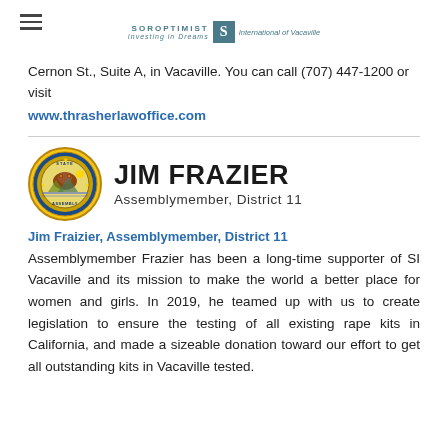SOROPTIMIST | Investing in Dreams | International of Vacaville
Cernon St., Suite A, in Vacaville. You can call (707) 447-1200 or visit
www.thrasherlawoffice.com
[Figure (logo): Jim Frazier Assemblymember District 11 seal and name]
Jim Fraizier, Assemblymember, District 11
Assemblymember Frazier has been a long-time supporter of SI Vacaville and its mission to make the world a better place for women and girls. In 2019, he teamed up with us to create legislation to ensure the testing of all existing rape kits in California, and made a sizeable donation toward our effort to get all outstanding kits in Vacaville tested.